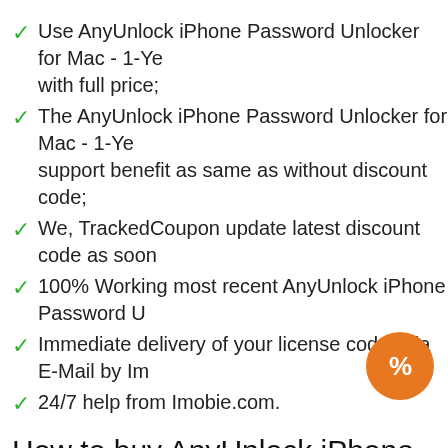Use AnyUnlock iPhone Password Unlocker for Mac - 1-Ye... with full price;
The AnyUnlock iPhone Password Unlocker for Mac - 1-Ye... support benefit as same as without discount code;
We, TrackedCoupon update latest discount code as soon ...
100% Working most recent AnyUnlock iPhone Password U...
Immediate delivery of your license codes via E-Mail by Im...
24/7 help from Imobie.com.
How to buy AnyUnlock iPhone Password ... discount code
Step 1: Click on [Quick buy with 41% discount] butto...
Step 2: At the checkout page (ShareIT, 2Checkout, Cleverbrid... information they ask you and...